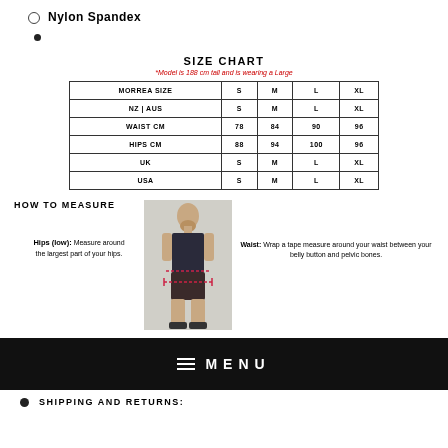Nylon Spandex
SIZE CHART
*Model is 188 cm tall and is wearing a Large
| MORREA SIZE | S | M | L | XL |
| --- | --- | --- | --- | --- |
| NZ | AUS | S | M | L | XL |
| WAIST CM | 78 | 84 | 90 | 96 |
| HIPS CM | 88 | 94 | 100 | 96 |
| UK | S | M | L | XL |
| USA | S | M | L | XL |
HOW TO MEASURE
Hips (low): Measure around the largest part of your hips.
[Figure (photo): Man wearing dark sleeveless shirt and shorts, shown from front, with measurement lines around hips area]
Waist: Wrap a tape measure around your waist between your belly button and pelvic bones.
MENU
SHIPPING AND RETURNS: